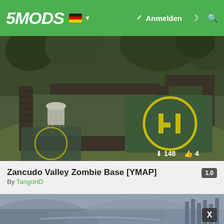5MODS — Anmelden
[Figure (screenshot): Aerial view of a zombie base in Zancudo Valley with helipad marked with H symbol, surrounded by military walls and trees. Download count: 148, Likes: 4]
Zancudo Valley Zombie Base [YMAP]
By TangoHD
[Figure (screenshot): Aerial screenshot of a hazy mountainous valley with a city/town visible below, foggy atmosphere, with an X button overlay]